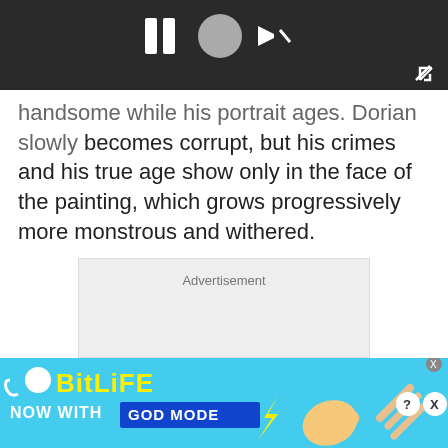[Figure (screenshot): Dark video player bar with pause and other controls visible at top]
handsome while his portrait ages. Dorian slowly becomes corrupt, but his crimes and his true age show only in the face of the painting, which grows progressively more monstrous and withered.
Advertisement
[Figure (illustration): BitLife advertisement banner with 'NOW WITH GOD MODE' text, yellow lightning bolt, pointing hand illustration, and close/question buttons]